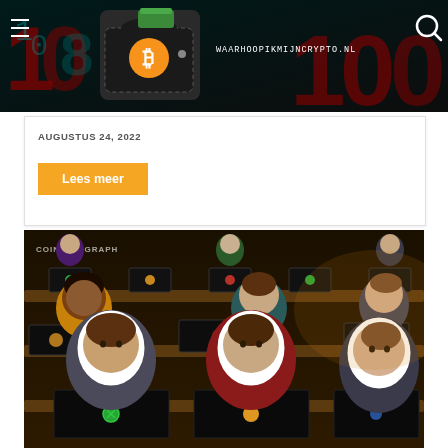[Figure (logo): Website header banner with dark background showing red/teal binary numbers, a bitcoin wallet logo in the center, and the URL waarhoopikmijncrypto.nl. Hamburger menu icon on left, search icon on right.]
AUGUSTUS 24, 2022
Lees meer
[Figure (illustration): CoinTelegraph branded illustration showing multiple stylized cartoon people sitting in lecture-hall style seating, each with a laptop open. The laptops display cryptocurrency coin logos. Three main characters are in the foreground.]